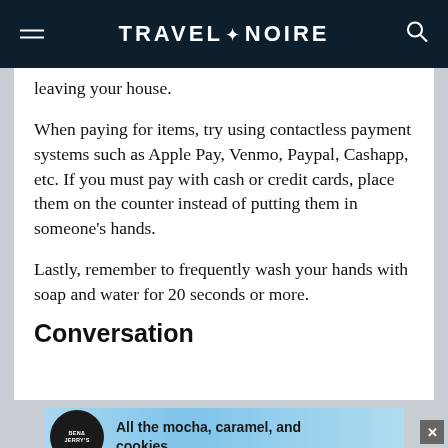TRAVEL+NOIRE
leaving your house.
When paying for items, try using contactless payment systems such as Apple Pay, Venmo, Paypal, Cashapp, etc. If you must pay with cash or credit cards, place them on the counter instead of putting them in someone's hands.
Lastly, remember to frequently wash your hands with soap and water for 20 seconds or more.
Conversation
[Figure (other): Ben & Jerry's advertisement banner with text 'All the mocha, caramel, and cookies.']